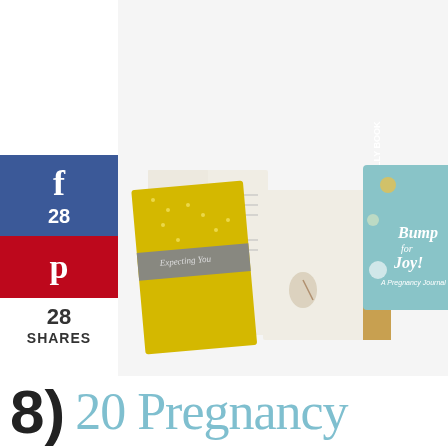[Figure (photo): Three pregnancy journal/book products: 'Expecting You' journal in yellow dotted cover shown open, 'The Belly Book' shown from the side spine, and 'Bump for Joy! A Pregnancy Journal' with teal illustrated cover]
[Figure (screenshot): Social media share buttons on left side: Facebook button (blue) showing 28 likes, Pinterest button (red), and 28 SHARES count below]
8) 20 Pregnancy